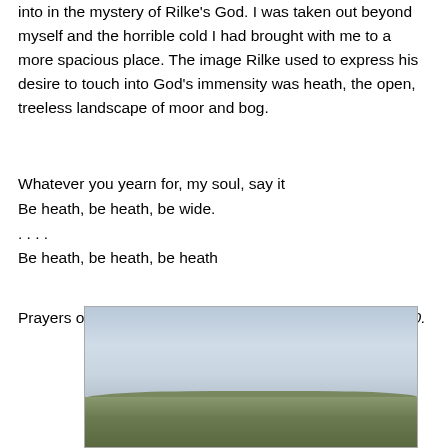into in the mystery of Rilke's God. I was taken out beyond myself and the horrible cold I had brought with me to a more spacious place. The image Rilke used to express his desire to touch into God's immensity was heath, the open, treeless landscape of moor and bog.
Whatever you yearn for, my soul, say it
Be heath, be heath, be wide.
. . . .
Be heath, be heath, be heath
Prayers of a Young Poet, translated by Mark Burrows, p 30.
[Figure (photo): Photograph of an open heath landscape with a wide cloudy sky above flat, open moorland with distant low hills.]